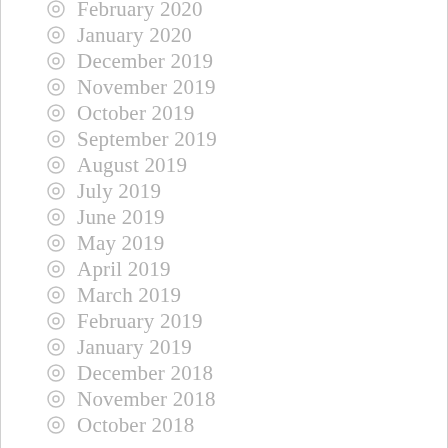February 2020
January 2020
December 2019
November 2019
October 2019
September 2019
August 2019
July 2019
June 2019
May 2019
April 2019
March 2019
February 2019
January 2019
December 2018
November 2018
October 2018